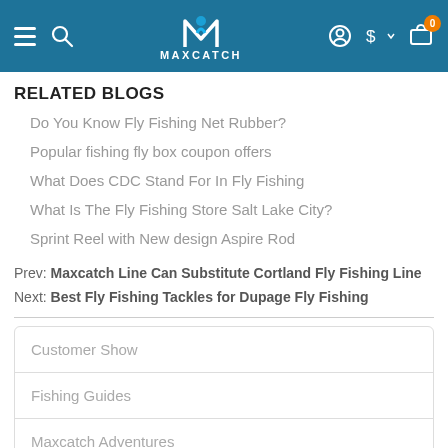MAXCATCH
RELATED BLOGS
Do You Know Fly Fishing Net Rubber?
Popular fishing fly box coupon offers
What Does CDC Stand For In Fly Fishing
What Is The Fly Fishing Store Salt Lake City?
Sprint Reel with New design Aspire Rod
Prev: Maxcatch Line Can Substitute Cortland Fly Fishing Line
Next: Best Fly Fishing Tackles for Dupage Fly Fishing
Customer Show
Fishing Guides
Maxcatch Adventures